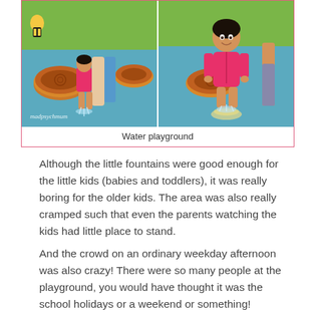[Figure (photo): Two side-by-side photos of a young toddler girl in a pink swimsuit at a water playground with blue flooring and decorative tree stump features. Left photo shows her from behind with an adult, water spraying at her feet. Right photo shows her facing the camera smiling, standing on a water jet pad. Watermark 'madpsychmum' visible on left photo.]
Water playground
Although the little fountains were good enough for the little kids (babies and toddlers), it was really boring for the older kids. The area was also really cramped such that even the parents watching the kids had little place to stand.
And the crowd on an ordinary weekday afternoon was also crazy! There were so many people at the playground, you would have thought it was the school holidays or a weekend or something!